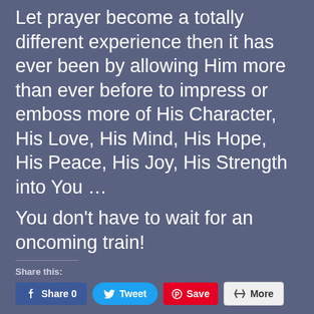Let prayer become a totally different experience then it has ever been by allowing Him more than ever before to impress or emboss more of His Character, His Love, His Mind, His Hope, His Peace, His Joy, His Strength into You …
You don't have to wait for an oncoming train!
Share this:
[Figure (screenshot): Social sharing buttons: Share 0 (Facebook, blue), Tweet (Twitter, cyan rounded), Save (Pinterest, red), More (gray outlined)]
Like this:
[Figure (screenshot): Like button (white with star icon)]